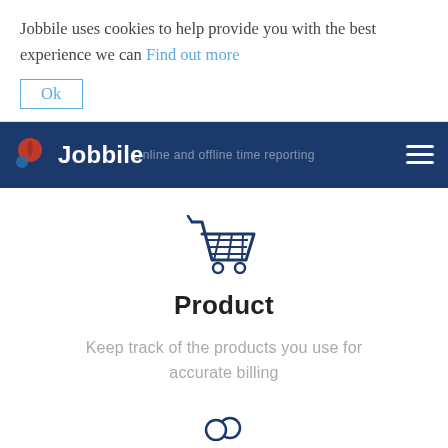Jobbile uses cookies to help provide you with the best experience we can Find out more
Ok
Jobbile — Online and offline time reporting
[Figure (illustration): Shopping cart icon in dark blue outline style]
Product
Keep track of the products you use for accurate billing
[Figure (illustration): Two people/customers icon in dark blue outline style]
Customers